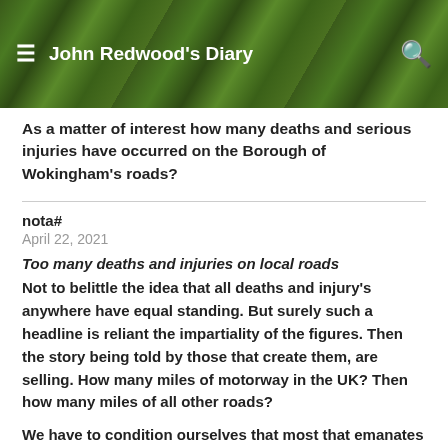John Redwood's Diary
As a matter of interest how many deaths and serious injuries have occurred on the Borough of Wokingham's roads?
nota#
April 22, 2021
Too many deaths and injuries on local roads
Not to belittle the idea that all deaths and injury's anywhere have equal standing. But surely such a headline is reliant the impartiality of the figures. Then the story being told by those that create them, are selling. How many miles of motorway in the UK? Then how many miles of all other roads?
We have to condition ourselves that most that emanates from